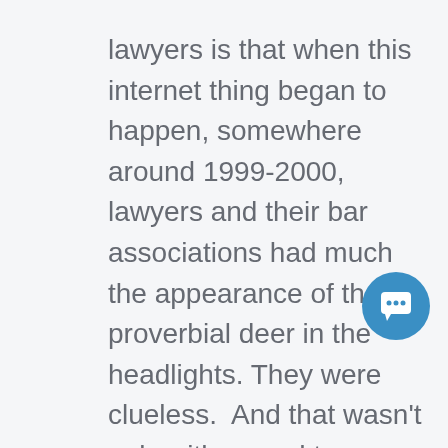lawyers is that when this internet thing began to happen, somewhere around 1999-2000, lawyers and their bar associations had much the appearance of the proverbial deer in the headlights. They were clueless. And that wasn't only with regard to divorce law practice, of course. It was with regard to ALL legal practice online. However, we are concerned here only with the current developments in California divorce practice which will assist you to obtain an intelligent and cost-effective online divorce in Ceres.
[Figure (other): Blue circular chat/message button icon in the lower right area of the page]